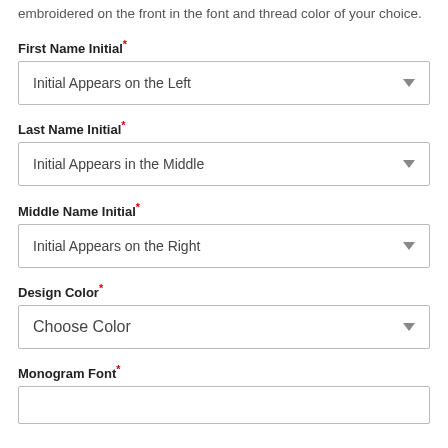embroidered on the front in the font and thread color of your choice.
First Name Initial*
Initial Appears on the Left
Last Name Initial*
Initial Appears in the Middle
Middle Name Initial*
Initial Appears on the Right
Design Color*
Choose Color
Monogram Font*